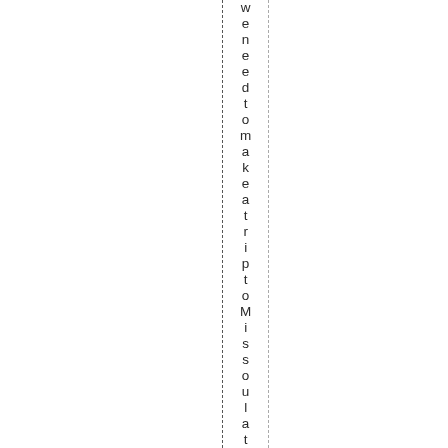we need to make a trip to Missoula tod